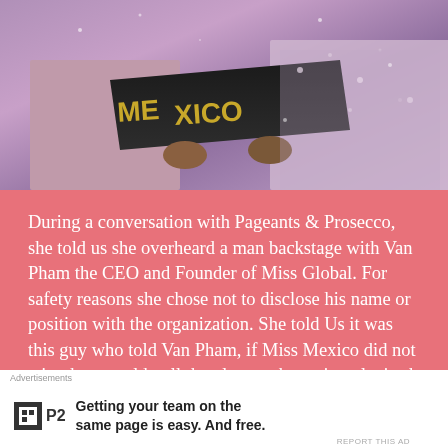[Figure (photo): Close-up photo of a beauty pageant contestant wearing a black and gold sash that reads 'MEXICO', with a sparkling silver/pink dress visible in the background]
During a conversation with Pageants & Prosecco, she told us she overheard a man backstage with Van Pham the CEO and Founder of Miss Global. For safety reasons she chose not to disclose his name or position with the organization. She told Us it was this guy who told Van Pham, if Miss Mexico did not win, they would pull the plug on the entire televised show.
Bee Nikole  January 28, 2020  News
Advertisements
Getting your team on the same page is easy. And free.